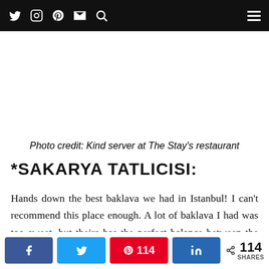Navigation bar with social icons (Twitter, Instagram, Pinterest, Email, Search) and hamburger menu
Photo credit: Kind server at The Stay's restaurant
*SAKARYA TATLICISI:
Hands down the best baklava we had in Istanbul! I can't recommend this place enough. A lot of baklava I had was too sweet, but theirs has the perfect balance between the pistachio flavor and the sweetness. I
Share buttons: Facebook, Twitter, Pinterest 114, LinkedIn, < 114 SHARES